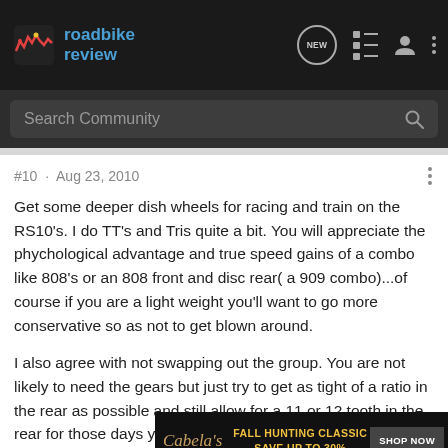[Figure (logo): Road Bike Review logo with nav icons]
Search Community
#10 · Aug 23, 2010
Get some deeper dish wheels for racing and train on the RS10's. I do TT's and Tris quite a bit. You will appreciate the phychological advantage and true speed gains of a combo like 808's or an 808 front and disc rear( a 909 combo)...of course if you are a light weight you'll want to go more conservative so as not to get blown around.
I also agree with not swapping out the group. You are not likely to need the gears but just try to get as tight of a ratio in the rear as possible and still allow for a 11 or 12 tooth in the rear for those days you have a tail wind and can really get the speed up.
[Figure (infographic): Cabela's Fall Hunting Classic advertisement: Save up to 30% - Shop Now]